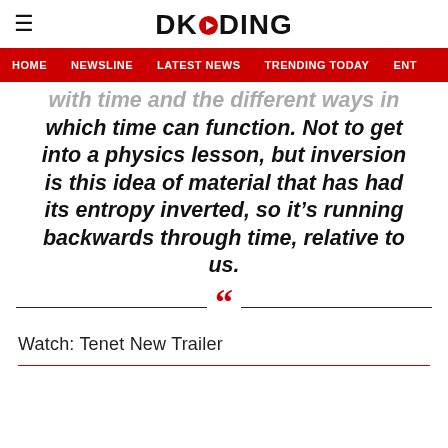DKODING
HOME  NEWSLINE  LATEST NEWS  TRENDING TODAY  ENT
with time and the different ways in which time can function. Not to get into a physics lesson, but inversion is this idea of material that has had its entropy inverted, so it’s running backwards through time, relative to us.
Watch: Tenet New Trailer